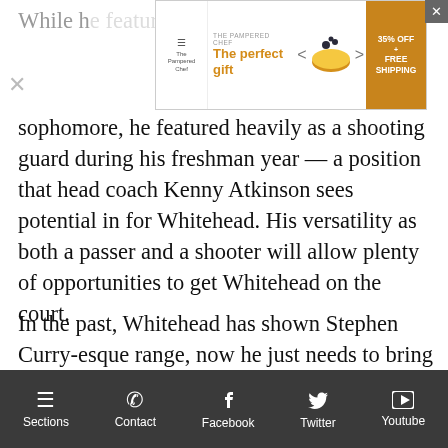[Figure (screenshot): Advertisement banner for The Pampered Chef showing 'The perfect gift' with a bowl image, navigation arrows, and 35% OFF + FREE SHIPPING promotional offer]
sophomore, he featured heavily as a shooting guard during his freshman year — a position that head coach Kenny Atkinson sees potential in for Whitehead. His versatility as both a passer and a shooter will allow plenty of opportunities to get Whitehead on the court.
In the past, Whitehead has shown Stephen Curry-esque range, now he just needs to bring it to the big leagues.
What does he bring to the table for the Nets?
Whitehead brings versatility that can be developed at either guard role, as he's a player that can both drive to the rim and shoot from 40 feet out. While he had trouble with his
Sections  Contact  Facebook  Twitter  Youtube